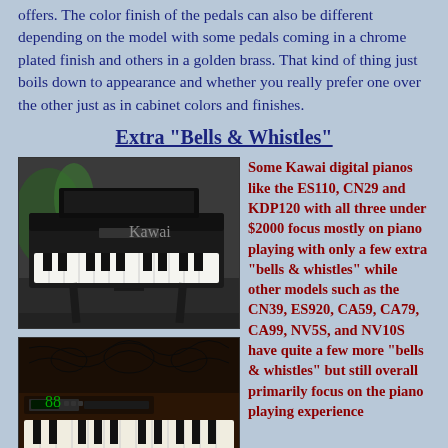offers. The color finish of the pedals can also be different depending on the model with some pedals coming in a chrome plated finish and others in a golden brass. That kind of thing just boils down to appearance and whether you really prefer one over the other just as in cabinet colors and finishes.
Extra "Bells & Whistles"
[Figure (photo): Photo of a Kawai digital piano (dark finish) on a stand, viewed from above-front angle, showing keys and music rest]
Some Kawai digital pianos like the ES110, CN29 and KDP120 with all three under $2000 focus mostly on piano playing with only a few extra "bells & whistles" while other models such as the CN39, ES920, CA59, CA79, CA99, NV5S, and NV10S have quite a few more "bells & whistles" but still overall primarily focus on the piano playing experience
[Figure (photo): Photo of a Kawai upright digital piano (dark wood finish) with decorative panel, showing keys and display panel]